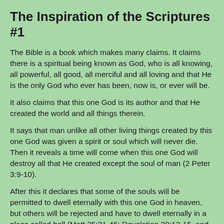The Inspiration of the Scriptures #1
The Bible is a book which makes many claims. It claims there is a spiritual being known as God, who is all knowing, all powerful, all good, all merciful and all loving and that He is the only God who ever has been, now is, or ever will be.
It also claims that this one God is its author and that He created the world and all things therein.
It says that man unlike all other living things created by this one God was given a spirit or soul which will never die. Then it reveals a time will come when this one God will destroy all that He created except the soul of man (2 Peter 3:9-10).
After this it declares that some of the souls will be permitted to dwell eternally with this one God in heaven, but others will be rejected and have to dwell eternally in a place called hell (Matt 25:31-46; Revelation 20:12-15, and Revelation 21:3-8).
In giving a description of these two places it describes heaven as an eternal place of abode where there will be no more tears, death, sorrow, crying or pain; and hell as an eternal dwelling place for those who shall be punished day